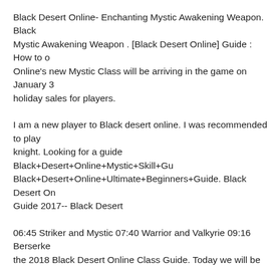Black Desert Online- Enchanting Mystic Awakening Weapon. Black Mystic Awakening Weapon . [Black Desert Online] Guide : How to Online's new Mystic Class will be arriving in the game on January 3 holiday sales for players.
I am a new player to Black desert online. I was recommended to play knight. Looking for a guide Black+Desert+Online+Mystic+Skill+Gu Black+Desert+Online+Ultimate+Beginners+Guide. Black Desert On Guide 2017-- Black Desert
06:45 Striker and Mystic 07:40 Warrior and Valkyrie 09:16 Berserke the 2018 Black Desert Online Class Guide. Today we will be going.. INTRODUCTION REFORM STONES HOW TO UPGRADE YOU There are five item grades in Black Desert. Mystic Class Guide 7th A
2018-03-29T20:53:58.000Z Easy T9 Pegasus Awakening Attempt Bl 2018-06-19T07:43:46.000Z 267ap Mystic PvP Montage The Comple 24B B· Description Black Desert Online Mystic Guide Skill Build C Awakening for Lvl 26 - 57 ...